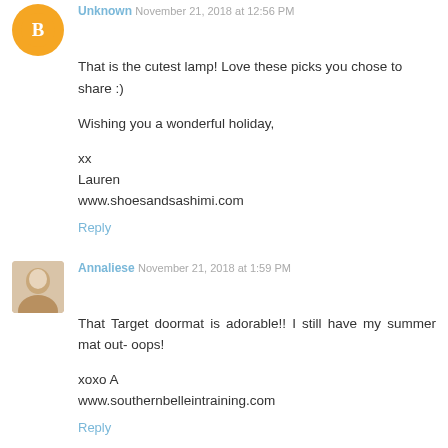Unknown November 21, 2018 at 12:56 PM
That is the cutest lamp! Love these picks you chose to share :)

Wishing you a wonderful holiday,

xx
Lauren
www.shoesandsashimi.com
Reply
Annaliese November 21, 2018 at 1:59 PM
That Target doormat is adorable!! I still have my summer mat out- oops!

xoxo A
www.southernbelleintraining.com
Reply
Emily | NRoH November 21, 2018 at 3:17 PM